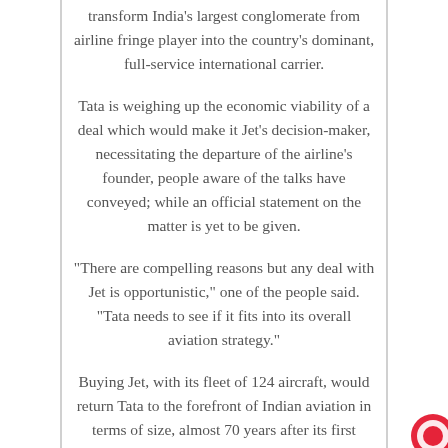transform India's largest conglomerate from airline fringe player into the country's dominant, full-service international carrier.
Tata is weighing up the economic viability of a deal which would make it Jet's decision-maker, necessitating the departure of the airline's founder, people aware of the talks have conveyed; while an official statement on the matter is yet to be given.
“There are compelling reasons but any deal with Jet is opportunistic,” one of the people said. “Tata needs to see if it fits into its overall aviation strategy.”
Buying Jet, with its fleet of 124 aircraft, would return Tata to the forefront of Indian aviation in terms of size, almost 70 years after its first airline was nationalized, and six years after it re-entered the market with two joint ventures.